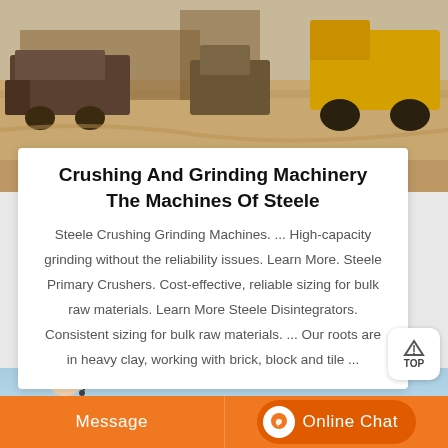[Figure (photo): Aerial or ground-level view of a construction/mining site with heavy machinery including bulldozers and trucks on sandy terrain]
Crushing And Grinding Machinery The Machines Of Steele
Steele Crushing Grinding Machines. ... High-capacity grinding without the reliability issues. Learn More. Steele Primary Crushers. Cost-effective, reliable sizing for bulk raw materials. Learn More. Steele Disintegrators. Consistent sizing for bulk raw materials. ... Our roots are in heavy clay, working with brick, block and tile ...
[Figure (photo): Bottom section showing a customer service representative with headset, orange message and online chat buttons, and a light blue sky background]